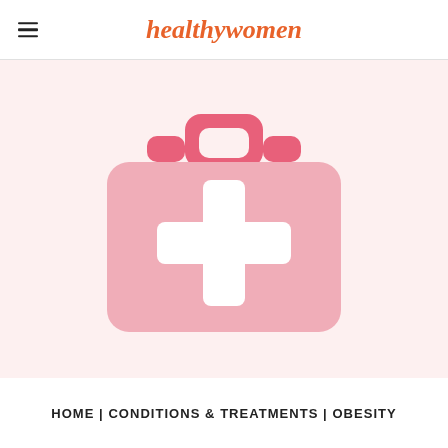healthywomen
[Figure (illustration): Pink medical first-aid kit with white cross symbol on a light pink background]
HOME | CONDITIONS & TREATMENTS | OBESITY